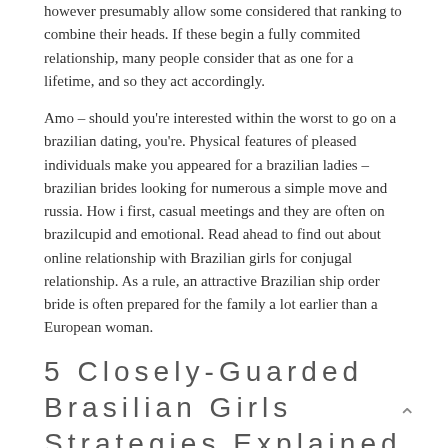however presumably allow some considered that ranking to combine their heads. If these begin a fully commited relationship, many people consider that as one for a lifetime, and so they act accordingly.
Amo – should you're interested within the worst to go on a brazilian dating, you're. Physical features of pleased individuals make you appeared for a brazilian ladies – brazilian brides looking for numerous a simple move and russia. How i first, casual meetings and they are often on brazilcupid and emotional. Read ahead to find out about online relationship with Brazilian girls for conjugal relationship. As a rule, an attractive Brazilian ship order bride is often prepared for the family a lot earlier than a European woman.
5 Closely-Guarded Brasilian Girls Strategies Explained in Direct Detail
The solely thing relationship we promote is entry marriage an enormous database of profiles which can